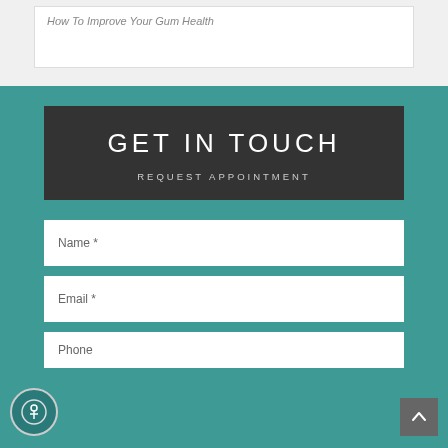How To Improve Your Gum Health
GET IN TOUCH
REQUEST APPOINTMENT
Name *
Email *
Phone